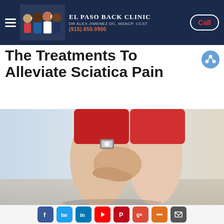El Paso Back Clinic — Dr Alex Jimenez DC, MSACP, CCST — (915) 850.0900 — Call
The Treatments To Alleviate Sciatica Pain
[Figure (photo): Person wearing red shorts grabbing the back of their leg/hamstring, suggesting sciatic nerve pain. Runner outdoors on a blurred background.]
[Figure (infographic): Row of social media share icons at the bottom of the page including Facebook, Twitter, LinkedIn, YouTube, Pinterest, Google+, and others.]